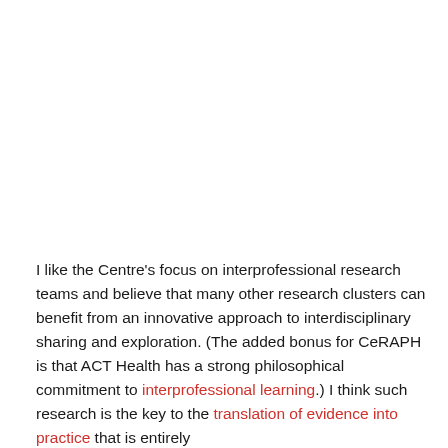I like the Centre's focus on interprofessional research teams and believe that many other research clusters can benefit from an innovative approach to interdisciplinary sharing and exploration. (The added bonus for CeRAPH is that ACT Health has a strong philosophical commitment to interprofessional learning.) I think such research is the key to the translation of evidence into practice that is entirely